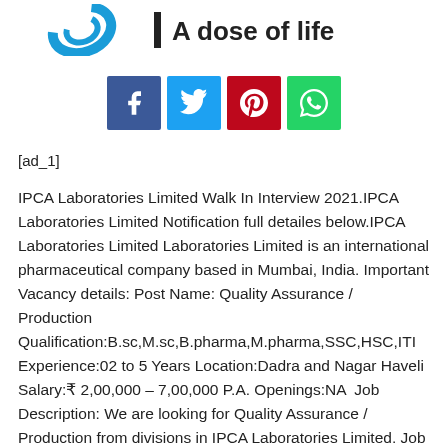[Figure (logo): IPCA Laboratories logo with blue swoosh icon and text 'A dose of life']
[Figure (infographic): Social sharing buttons: Facebook (blue), Twitter (cyan), Pinterest (red), WhatsApp (green)]
[ad_1]
IPCA Laboratories Limited Walk In Interview 2021.IPCA Laboratories Limited Notification full detailes below.IPCA Laboratories Limited Laboratories Limited is an international pharmaceutical company based in Mumbai, India. Important Vacancy details: Post Name: Quality Assurance / Production Qualification:B.sc,M.sc,B.pharma,M.pharma,SSC,HSC,ITI Experience:02 to 5 Years Location:Dadra and Nagar Haveli Salary:₹ 2,00,000 – 7,00,000 P.A. Openings:NA  Job Description: We are looking for Quality Assurance / Production from divisions in IPCA Laboratories Limited. Job Profile in